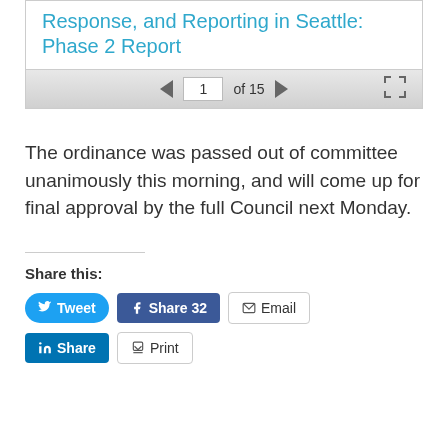Response, and Reporting in Seattle: Phase 2 Report
The ordinance was passed out of committee unanimously this morning, and will come up for final approval by the full Council next Monday.
Share this:
Tweet
Share 32
Email
Share
Print